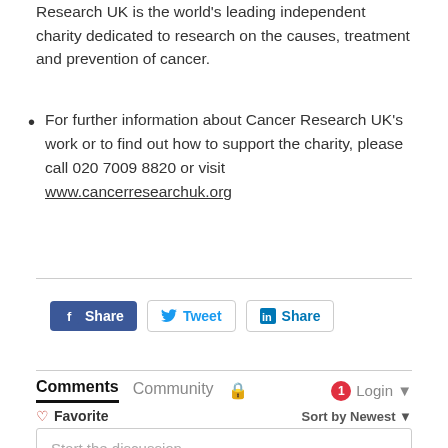Research UK is the world's leading independent charity dedicated to research on the causes, treatment and prevention of cancer.
For further information about Cancer Research UK's work or to find out how to support the charity, please call 020 7009 8820 or visit www.cancerresearchuk.org
[Figure (screenshot): Social sharing buttons: Facebook Share (blue), Twitter Tweet (white with blue bird), LinkedIn Share (white with blue in logo)]
[Figure (screenshot): Disqus comments widget: tabs for Comments, Community, lock icon, login button with notification badge showing 1. Favorite button, Sort by Newest dropdown. Start the discussion input box. LOG IN WITH label and social login icons.]